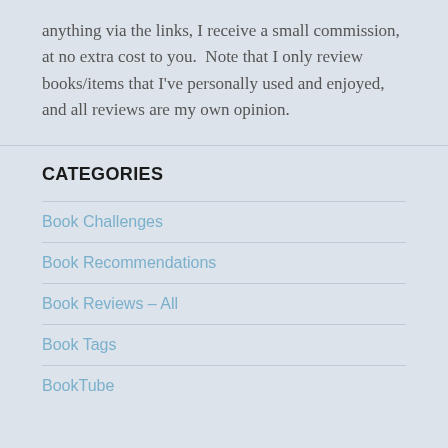anything via the links, I receive a small commission, at no extra cost to you.  Note that I only review books/items that I've personally used and enjoyed, and all reviews are my own opinion.
CATEGORIES
Book Challenges
Book Recommendations
Book Reviews – All
Book Tags
BookTube